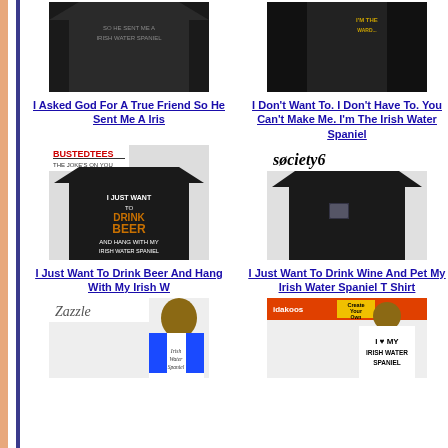[Figure (photo): Black t-shirt with text about Irish Water Spaniel on dark background]
[Figure (photo): Woman in black sleeveless top with yellow text about Irish Water Spaniel]
I Asked God For A True Friend So He Sent Me A Iris
I Don't Want To. I Don't Have To. You Can't Make Me. I'm The Irish Water Spaniel
[Figure (photo): BustedTees branded black t-shirt with beer and Irish Water Spaniel text]
[Figure (photo): Society6 branded dark t-shirt with small chest pocket graphic]
I Just Want To Drink Beer And Hang With My Irish W
I Just Want To Drink Wine And Pet My Irish Water Spaniel T Shirt
[Figure (photo): Zazzle branded raglan t-shirt with I Love My Irish Water Spaniel]
[Figure (photo): Idakoos Create Your Own branded white t-shirt with I Love My Irish Water Spaniel]